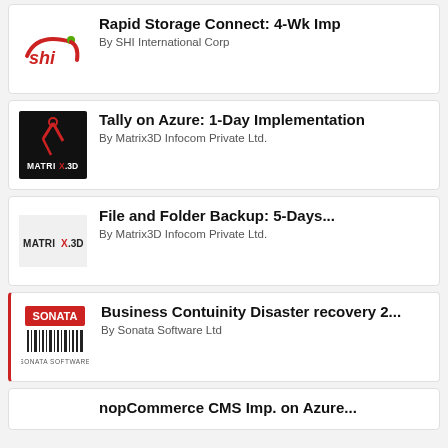[Figure (logo): SHI International Corp logo - red swoosh with 'shi' text and green dot]
Rapid Storage Connect: 4-Wk Imp
By SHI International Corp
[Figure (logo): Matrix3D Infocom logo - black background with red figure and MATRI3D text]
Tally on Azure: 1-Day Implementation
By Matrix3D Infocom Private Ltd.
[Figure (logo): Matrix3D Infocom logo - light background with MATRIX.3D text]
File and Folder Backup: 5-Days...
By Matrix3D Infocom Private Ltd.
[Figure (logo): Sonata Software logo - red banner with barcode and SONATA SOFTWARE text]
Business Contuinity Disaster recovery 2...
By Sonata Software Ltd
nopCommerce CMS Imp. on Azure...